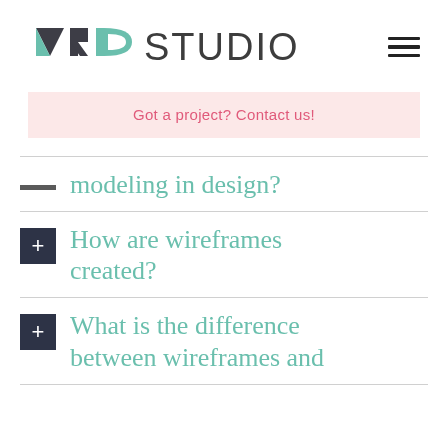VRD STUDIO
Got a project? Contact us!
modeling in design?
How are wireframes created?
What is the difference between wireframes and